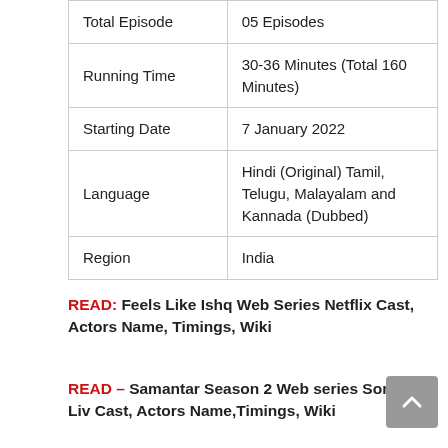|  |  |
| --- | --- |
| Total Episode | 05 Episodes |
| Running Time | 30-36 Minutes (Total 160 Minutes) |
| Starting Date | 7 January 2022 |
| Language | Hindi (Original) Tamil, Telugu, Malayalam and Kannada (Dubbed) |
| Region | India |
READ: Feels Like Ishq Web Series Netflix Cast, Actors Name, Timings, Wiki
READ – Samantar Season 2 Web series Sony Liv Cast, Actors Name,Timings, Wiki